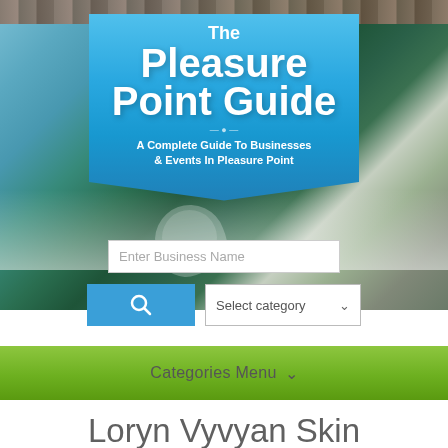[Figure (screenshot): Hero image of a surfer on a wave with a blue banner overlay showing 'The Pleasure Point Guide' title and subtitle 'A Complete Guide To Businesses & Events In Pleasure Point'. Below the hero image is a search bar with 'Enter Business Name' placeholder, a blue search button with magnifying glass icon, and a 'Select category' dropdown. A green navigation bar shows 'Categories Menu' with a dropdown arrow.]
Loryn Vyvyan Skin